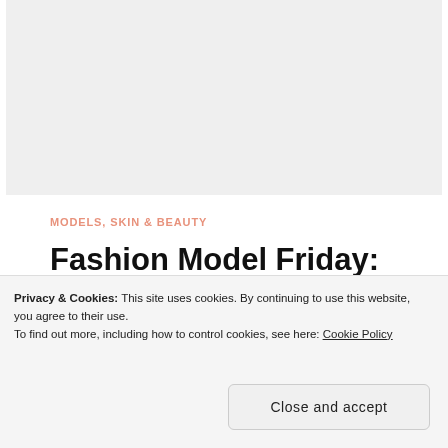[Figure (photo): Light gray placeholder image area at top of page]
MODELS,  SKIN & BEAUTY
Fashion Model Friday: Curvy Model Jana About her Skin Care
Privacy & Cookies: This site uses cookies. By continuing to use this website, you agree to their use.
To find out more, including how to control cookies, see here: Cookie Policy
Close and accept